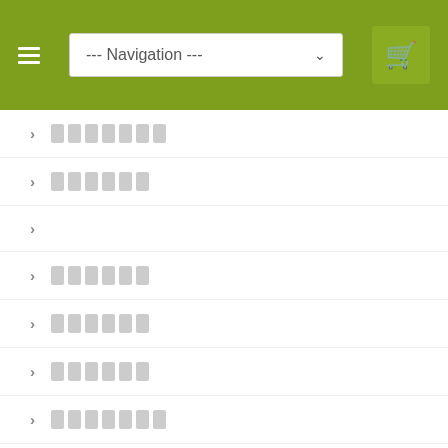Navigation menu with hamburger icon, navigation dropdown, and cart icon
[chevron] [redacted text blocks]
[chevron] [redacted text blocks]
[chevron]
[chevron] [redacted text blocks]
[chevron] [redacted text blocks]
[chevron] [redacted text blocks]
[chevron] [redacted text blocks]
[chevron] [redacted text blocks]
[chevron] [redacted text blocks]
[chevron] [redacted text blocks]
[chevron]
[chevron]
[chevron]